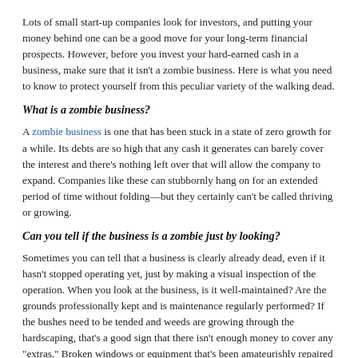Lots of small start-up companies look for investors, and putting your money behind one can be a good move for your long-term financial prospects. However, before you invest your hard-earned cash in a business, make sure that it isn't a zombie business. Here is what you need to know to protect yourself from this peculiar variety of the walking dead.
What is a zombie business?
A zombie business is one that has been stuck in a state of zero growth for a while. Its debts are so high that any cash it generates can barely cover the interest and there's nothing left over that will allow the company to expand. Companies like these can stubbornly hang on for an extended period of time without folding—but they certainly can't be called thriving or growing.
Can you tell if the business is a zombie just by looking?
Sometimes you can tell that a business is clearly already dead, even if it hasn't stopped operating yet, just by making a visual inspection of the operation. When you look at the business, is it well-maintained? Are the grounds professionally kept and is maintenance regularly performed? If the bushes need to be tended and weeds are growing through the hardscaping, that's a good sign that there isn't enough money to cover any "extras." Broken windows or equipment that's been amateurishly repaired are also signs that a company is trying to make do without incurring extra